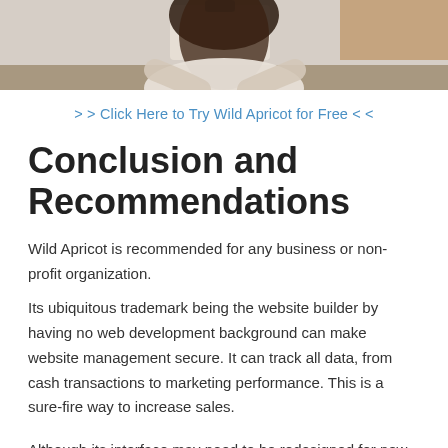[Figure (photo): Cropped photo of a person with dark hair seen from behind/above, appearing to work at a desk]
> > Click Here to Try Wild Apricot for Free < <
Conclusion and Recommendations
Wild Apricot is recommended for any business or non-profit organization.
Its ubiquitous trademark being the website builder by having no web development background can make website management secure. It can track all data, from cash transactions to marketing performance. This is a sure-fire way to increase sales.
Although its interface may need to be redesigned for new technology, it is still compatible with older devices. You could use it